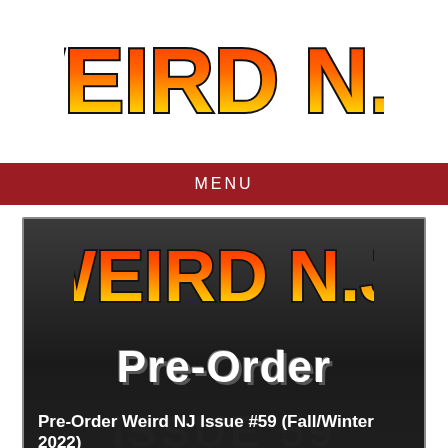[Figure (logo): Weird N.J. logo in orange-to-yellow gradient with black outline, stylized cartoon lettering]
MENU
[Figure (illustration): Weird N.J. magazine pre-order promotional image. Dark grey background with the Weird N.J. logo in orange-red gradient at top, large white bold 'Pre-Order' text in the middle, and 'Issue 59' watermark text at the bottom. A caption overlay reads 'Pre-Order Weird NJ Issue #59 (Fall/Winter 2022)']
Pre-Order Weird NJ Issue #59 (Fall/Winter 2022)